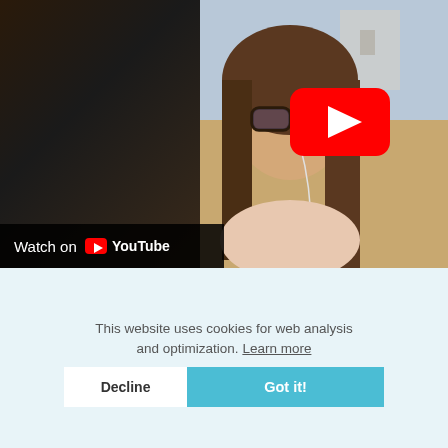[Figure (screenshot): A YouTube video thumbnail showing a woman with glasses and earphones on the right side of the frame, and a darker background on the left. A large YouTube play button (red rounded rectangle with white triangle) is overlaid on the right portion. A 'Watch on YouTube' bar appears at the bottom-left with the YouTube logo.]
This website uses cookies for web analysis and optimization. Learn more
Katarina Pavliša from Croatia offered a "Mindfulness Intensive for Me" training.
Please read these amazing testimonials from her participants.